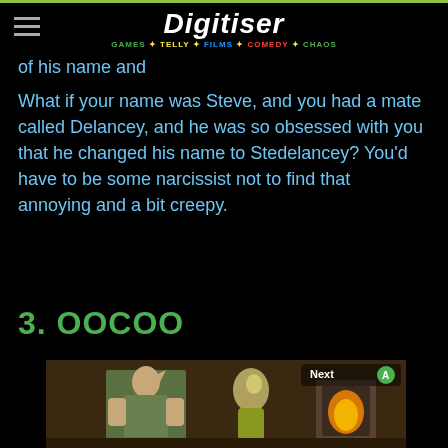Digitiser — GAMES · TELLY · FILMS · COMEDY · CHAOS
of his name and
What if your name was Steve, and you had a mate called Delancey, and he was so obsessed with you that he changed his name to Stedelancey? You'd have to be some narcissist not to find that annoying and a bit creepy.
3. OOCOO
[Figure (screenshot): Screenshot from a Legend of Zelda game showing Link sitting next to Oocoo, a bird-like creature, in a dimly lit wooden interior with a fireplace. A 'Next A' button prompt is visible in the top right corner.]